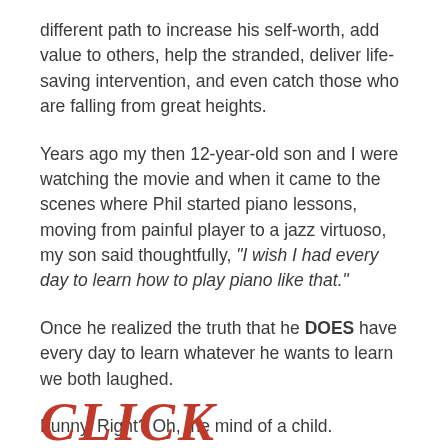different path to increase his self-worth, add value to others, help the stranded, deliver life-saving intervention, and even catch those who are falling from great heights.
Years ago my then 12-year-old son and I were watching the movie and when it came to the scenes where Phil started piano lessons, moving from painful player to a jazz virtuoso, my son said thoughtfully, "I wish I had every day to learn how to play piano like that."
Once he realized the truth that he DOES have every day to learn whatever he wants to learn we both laughed.
Funny, Right? Oh, the mind of a child.
[Figure (other): Decorative cursive/script text partially visible at bottom of page, red colored]